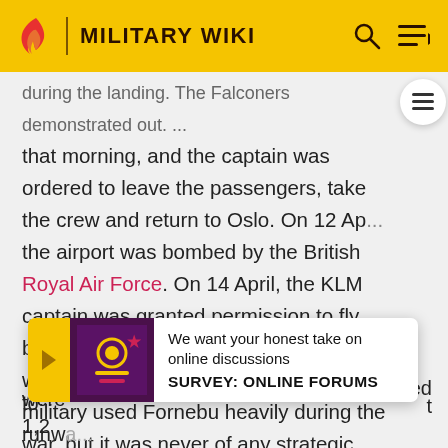MILITARY WIKI
during the landing. The Falconers demonstrated out that morning, and the captain was ordered to leave the passengers, take the crew and return to Oslo. On 12 April, the airport was bombed by the British Royal Air Force. On 14 April, the KLM captain was granted permission to fly back to Amsterdam with the crew, albeit without any passengers. The German military used Fornebu heavily during the war, but it was never of any strategic importance, since it was located far from any battle zones. During the war, the airport officially remained owned by the municipality. By orders of the German authorities... ...ed to 1,2... ...t were... runway...
[Figure (infographic): Survey popup: We want your honest take on online discussions. SURVEY: ONLINE FORUMS]
We want your honest take on online discussions
SURVEY: ONLINE FORUMS